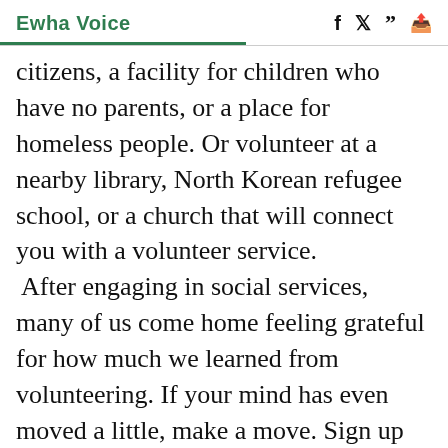Ewha Voice
citizens, a facility for children who have no parents, or a place for homeless people. Or volunteer at a nearby library, North Korean refugee school, or a church that will connect you with a volunteer service. After engaging in social services, many of us come home feeling grateful for how much we learned from volunteering. If your mind has even moved a little, make a move. Sign up for volunteer activities that might change the way you perceive your life. When the finals are over and the long winter break starts, you will be glad to have